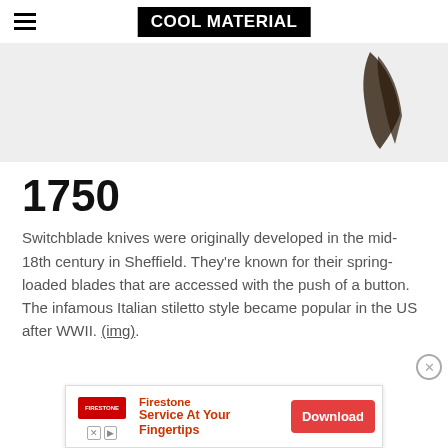COOL MATERIAL
[Figure (photo): Partial view of a knife tip/switchblade blade against a light gray background]
1750
Switchblade knives were originally developed in the mid-18th century in Sheffield. They're known for their spring-loaded blades that are accessed with the push of a button. The infamous Italian stiletto style became popular in the US after WWII. (img).
[Figure (screenshot): Firestone advertisement banner: 'Service At Your Fingertips' with Download button]